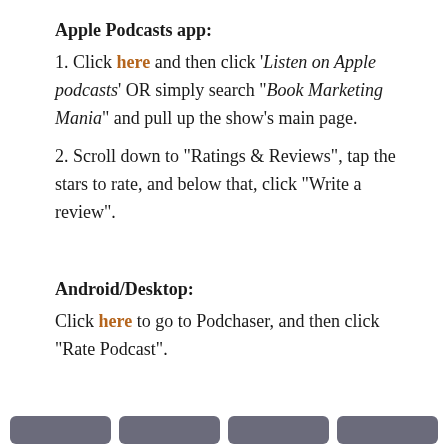Apple Podcasts app:
1. Click here and then click ‘Listen on Apple podcasts’ OR simply search “Book Marketing Mania” and pull up the show’s main page.
2. Scroll down to “Ratings & Reviews”, tap the stars to rate, and below that, click “Write a review”.
Android/Desktop:
Click here to go to Podchaser, and then click “Rate Podcast”.